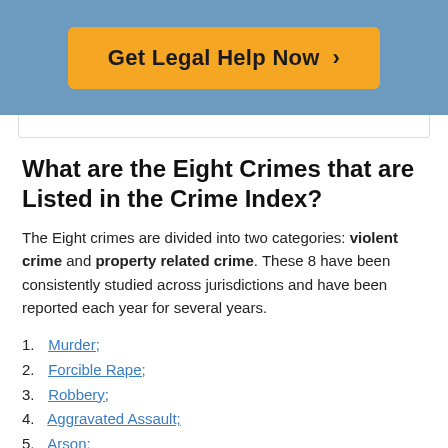[Figure (other): Blue banner with orange 'Get Legal Help Now >' call-to-action button]
What are the Eight Crimes that are Listed in the Crime Index?
The Eight crimes are divided into two categories: violent crime and property related crime. These 8 have been consistently studied across jurisdictions and have been reported each year for several years.
1. Murder;
2. Forcible Rape;
3. Robbery;
4. Aggravated Assault;
5. Arson;
6. Burglary;
7. Larceny-theft; and